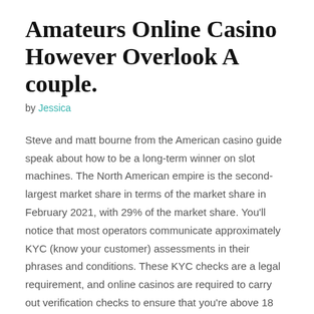Amateurs Online Casino However Overlook A couple.
by Jessica
Steve and matt bourne from the American casino guide speak about how to be a long-term winner on slot machines. The North American empire is the second-largest market share in terms of the market share in February 2021, with 29% of the market share. You'll notice that most operators communicate approximately KYC (know your customer) assessments in their phrases and conditions. These KYC checks are a legal requirement, and online casinos are required to carry out verification checks to ensure that you're above 18 and that you haven't opened any accounts with the site in the past. If you're considering joining a new website, we strongly recommend